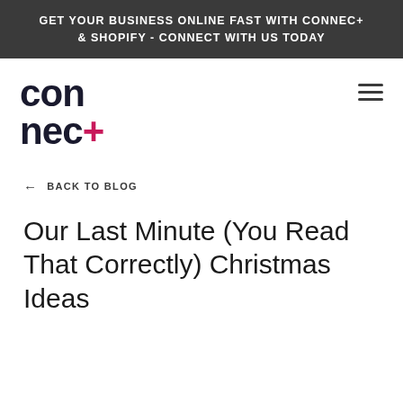GET YOUR BUSINESS ONLINE FAST WITH CONNEC+ & SHOPIFY - CONNECT WITH US TODAY
[Figure (logo): connec+ logo in dark navy with red plus sign]
← BACK TO BLOG
Our Last Minute (You Read That Correctly) Christmas Ideas